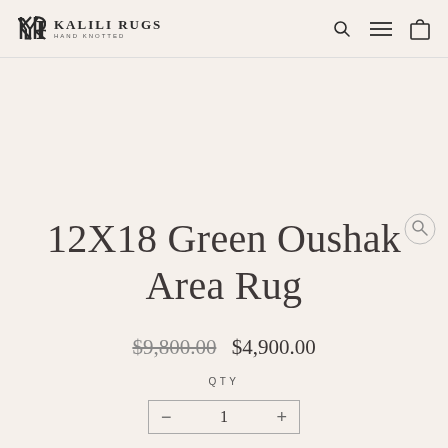KALILI RUGS HAND KNOTTED
12X18 Green Oushak Area Rug
$9,800.00  $4,900.00
QTY
1